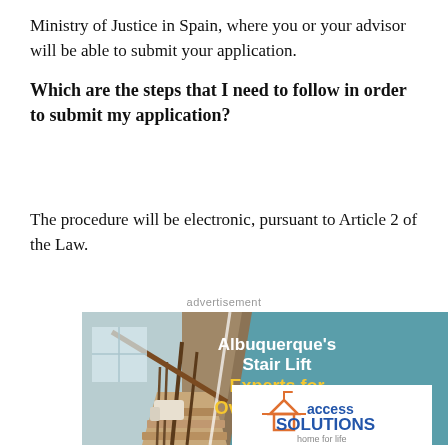Ministry of Justice in Spain, where you or your advisor will be able to submit your application.
Which are the steps that I need to follow in order to submit my application?
The procedure will be electronic, pursuant to Article 2 of the Law.
advertisement
[Figure (infographic): Advertisement for Access Solutions stair lift company. Shows a stair lift on a staircase on the left, and text on teal background reading "Albuquerque's Stair Lift Experts for Over 40 Years!" with the Access Solutions logo (home for life) below.]